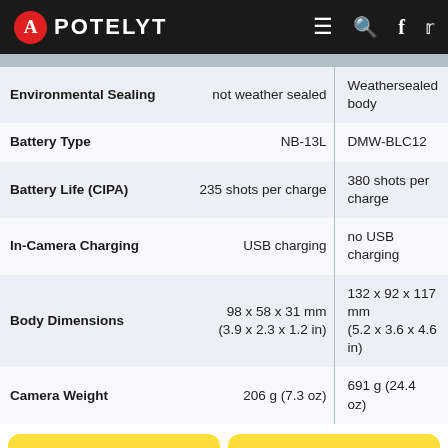APOTELYT
| Feature | Canon G9X Mark II | Panasonic FZ330 |
| --- | --- | --- |
| Environmental Sealing | not weather sealed | Weathersealed body |
| Battery Type | NB-13L | DMW-BLC12 |
| Battery Life (CIPA) | 235 shots per charge | 380 shots per charge |
| In-Camera Charging | USB charging | no USB charging |
| Body Dimensions | 98 x 58 x 31 mm (3.9 x 2.3 x 1.2 in) | 132 x 92 x 117 mm (5.2 x 3.6 x 4.6 in) |
| Camera Weight | 206 g (7.3 oz) | 691 g (24.4 oz) |
[Figure (infographic): Canon G9X Mark II price at amazon.com button (yellow)]
[Figure (infographic): Panasonic FZ330 price at amazon.com button (yellow)]
Did you notice an error on this page? If so, please get in touch, so that we can correct the information.